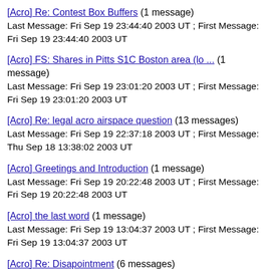[Acro] Re: Contest Box Buffers (1 message)
Last Message: Fri Sep 19 23:44:40 2003 UT ; First Message: Fri Sep 19 23:44:40 2003 UT
[Acro] FS: Shares in Pitts S1C Boston area (lo ... (1 message)
Last Message: Fri Sep 19 23:01:20 2003 UT ; First Message: Fri Sep 19 23:01:20 2003 UT
[Acro] Re: legal acro airspace question (13 messages)
Last Message: Fri Sep 19 22:37:18 2003 UT ; First Message: Thu Sep 18 13:38:02 2003 UT
[Acro] Greetings and Introduction (1 message)
Last Message: Fri Sep 19 20:22:48 2003 UT ; First Message: Fri Sep 19 20:22:48 2003 UT
[Acro] the last word (1 message)
Last Message: Fri Sep 19 13:04:37 2003 UT ; First Message: Fri Sep 19 13:04:37 2003 UT
[Acro] Re: Disapointment (6 messages)
Last Message: Fri Sep 19 05:19:30 2003 UT ; First Message: Fri Sep 19 04:38:20 2003 UT
[Acro] Re: Terra transponder wanted (2 messages)
Last Message: Fri Sep 19 05:55:45 2003 UT ; First Message: Thu...